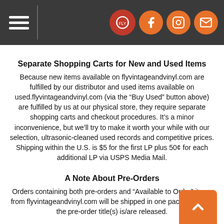[Navigation header with hamburger menu and social icons: Facebook, Instagram, Email]
[partial text line]
Separate Shopping Carts for New and Used Items
Because new items available on flyvintageandvinyl.com are fulfilled by our distributor and used items available on used.flyvintageandvinyl.com (via the “Buy Used” button above) are fulfilled by us at our physical store, they require separate shopping carts and checkout procedures. It’s a minor inconvenience, but we’ll try to make it worth your while with our selection, ultrasonic-cleaned used records and competitive prices. Shipping within the U.S. is $5 for the first LP plus 50¢ for each additional LP via USPS Media Mail.
A Note About Pre-Orders
Orders containing both pre-orders and “Available to Order” items from flyvintageandvinyl.com will be shipped in one package when the pre-order title(s) is/are released.
International Orders, Box Sets and Larger Items
may incur an additional shipping fee and we’ll notify you by email before we process your order. Customs forms for international orders